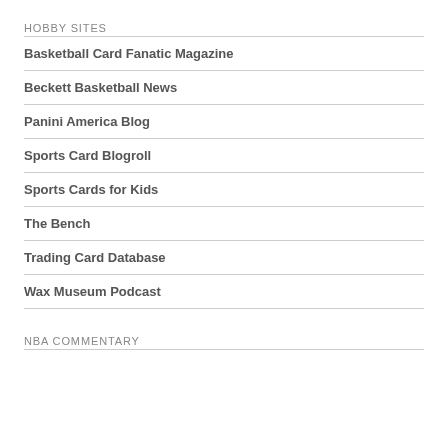HOBBY SITES
Basketball Card Fanatic Magazine
Beckett Basketball News
Panini America Blog
Sports Card Blogroll
Sports Cards for Kids
The Bench
Trading Card Database
Wax Museum Podcast
NBA COMMENTARY